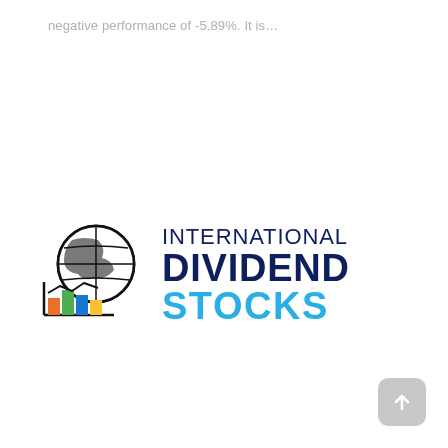negative performance of -5.89%. It is…
[Figure (logo): International Dividend Stocks logo with globe and bar chart icon on left, and text 'INTERNATIONAL DIVIDEND STOCKS' on the right in dark navy and blue colors]